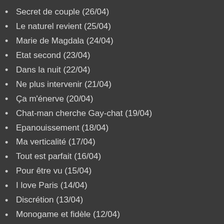Secret de couple (26/04)
Le naturel revient (25/04)
Marie de Magdala (24/04)
Etat second (23/04)
Dans la nuit (22/04)
Ne plus intervenir (21/04)
Ça m'énerve (20/04)
Chat-man cherche Gay-chat (19/04)
Epanouissement (18/04)
Ma verticalité (17/04)
Tout est parfait (16/04)
Pour être vu (15/04)
I love Paris (14/04)
Discrétion (13/04)
Monogame et fidèle (12/04)
Et elle alors... (11/04)
A moi de me voir (10/04)
Où sont-elles passées (09/04)
Discret élégant... (08/04)